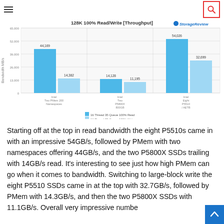[Figure (grouped-bar-chart): 128K 100% Read/Write [Throughput]]
Starting off at the top in read bandwidth the eight P5510s came in with an impressive 54GB/s, followed by PMem with two namespaces offering 44GB/s, and the two P5800X SSDs trailing with 14GB/s read. It’s interesting to see just how high PMem can go when it comes to bandwidth. Switching to large-block write the eight P5510 SSDs came in at the top with 32.7GB/s, followed by PMem with 14.3GB/s, and then the two P5800X SSDs with 11.1GB/s. Overall very impressive numbers.